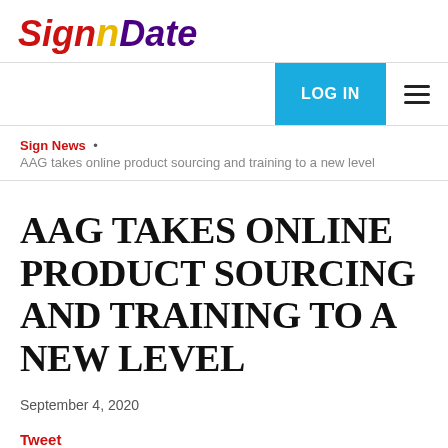[Figure (logo): SignDate logo with stylized italic text, 'Sign' in red and 'Date' in purple with a yellow exclamation-style mark]
LOG IN  ☰
Sign News  •  AAG takes online product sourcing and training to a new level
AAG TAKES ONLINE PRODUCT SOURCING AND TRAINING TO A NEW LEVEL
September 4, 2020
Tweet